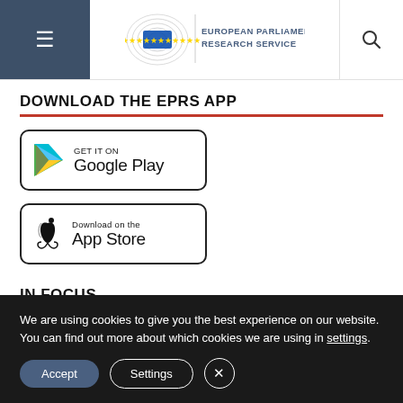European Parliamentary Research Service
DOWNLOAD THE EPRS APP
[Figure (logo): Google Play store badge with Play triangle icon and text GET IT ON Google Play]
[Figure (logo): Apple App Store badge with Apple logo icon and text Download on the App Store]
IN FOCUS
We are using cookies to give you the best experience on our website.
You can find out more about which cookies we are using in settings.
Accept  Settings  X